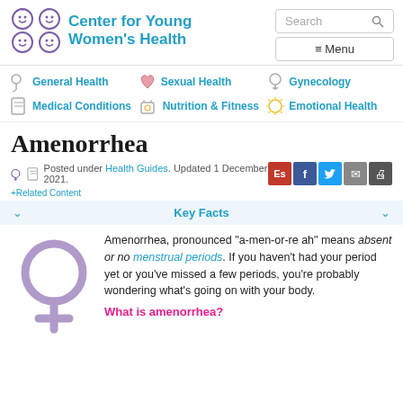Center for Young Women's Health
General Health
Sexual Health
Gynecology
Medical Conditions
Nutrition & Fitness
Emotional Health
Amenorrhea
Posted under Health Guides. Updated 1 December 2021.
+Related Content
Key Facts
[Figure (illustration): Purple female gender symbol illustration]
Amenorrhea, pronounced "a-men-or-re ah" means absent or no menstrual periods. If you haven't had your period yet or you've missed a few periods, you're probably wondering what's going on with your body.
What is amenorrhea?